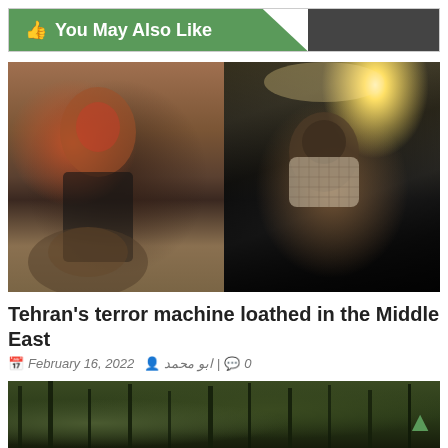You May Also Like
[Figure (photo): Two protest scene photos side by side: left shows a person with red face paint riding a motorcycle with a painted banner; right shows a person with a keffiyeh face covering at a night event with bright lights]
Tehran's terror machine loathed in the Middle East
February 16, 2022  ابو محمد  0
[Figure (photo): Partial view of a dark forest or treeline scene at the bottom of the page]